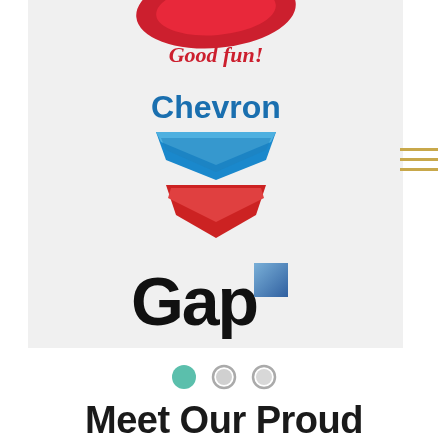[Figure (logo): Lay's 'Good fun!' logo partially visible at top of gray slide area]
[Figure (logo): Chevron logo with blue and red chevron symbol and 'Chevron' text in blue]
[Figure (logo): Gap logo with large black bold text 'Gap' and a small blue square in upper right]
[Figure (other): Carousel navigation dots - three circles, first filled teal/green, second and third outlined/gray]
Meet Our Proud